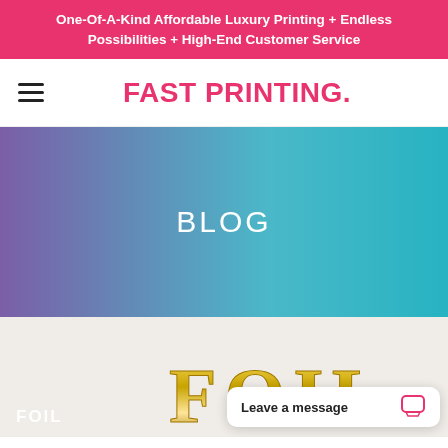One-Of-A-Kind Affordable Luxury Printing + Endless Possibilities + High-End Customer Service
[Figure (logo): Fast Printing logo with hamburger menu icon]
BLOG
[Figure (photo): Foil letters spelling FOIL on a light background, with gold 3D foil letters above and FOIL text in white bottom left]
Leave a message